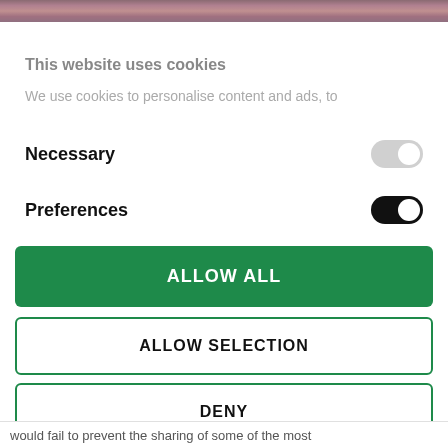[Figure (photo): Partial photo strip at top of page, blurred brownish-red tones]
This website uses cookies
We use cookies to personalise content and ads, to
Necessary
Preferences
ALLOW ALL
ALLOW SELECTION
DENY
Powered by Cookiebot by Usercentrics
would fail to prevent the sharing of some of the most